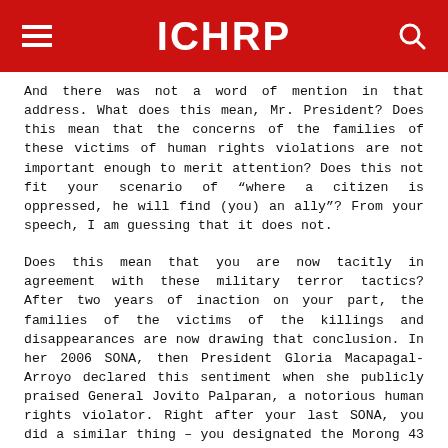ICHRP
And there was not a word of mention in that address. What does this mean, Mr. President? Does this mean that the concerns of the families of these victims of human rights violations are not important enough to merit attention? Does this not fit your scenario of “where a citizen is oppressed, he will find (you) an ally”? From your speech, I am guessing that it does not.
Does this mean that you are now tacitly in agreement with these military terror tactics? After two years of inaction on your part, the families of the victims of the killings and disappearances are now drawing that conclusion. In her 2006 SONA, then President Gloria Macapagal-Arroyo declared this sentiment when she publicly praised General Jovito Palparan, a notorious human rights violator. Right after your last SONA, you did a similar thing – you designated the Morong 43 torturer Col. Aurelio Balabad to a division command post. I am guessing that you are indeed encouraging these terror tactics.